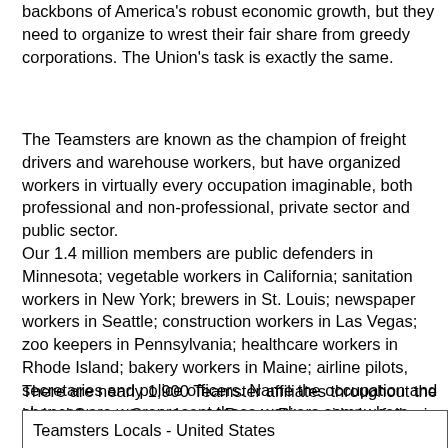backbons of America's robust economic growth, but they need to organize to wrest their fair share from greedy corporations. The Union's task is exactly the same.
The Teamsters are known as the champion of freight drivers and warehouse workers, but have organized workers in virtually every occupation imaginable, both professional and non-professional, private sector and public sector.
Our 1.4 million members are public defenders in Minnesota; vegetable workers in California; sanitation workers in New York; brewers in St. Louis; newspaper workers in Seattle; construction workers in Las Vegas; zoo keepers in Pennsylvania; healthcare workers in Rhode Island; bakery workers in Maine; airline pilots, secretaries and police officers. Name the occupation and chances are we represent those workers somewhere.
There are nearly 1,900 Teamster affiliates throughout the United States, Canada and Puerto Rico, with the following breakdown:
| Teamsters Locals - United States |
| --- |